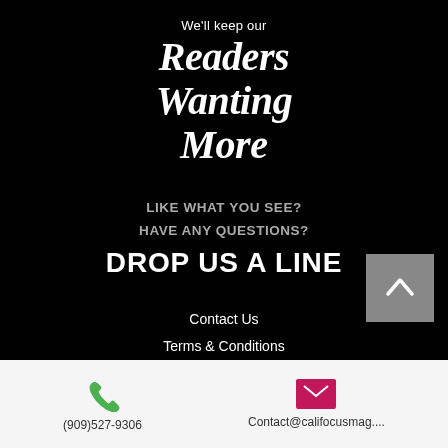We'll keep our
Readers Wanting More
LIKE WHAT YOU SEE?
HAVE ANY QUESTIONS?
DROP US A LINE
Contact Us
Terms & Conditions
Subscribe
Model Submission
Renew Subscription
Submit an Article
Submit Images
(909)527-9306
Contact@califocusmag....